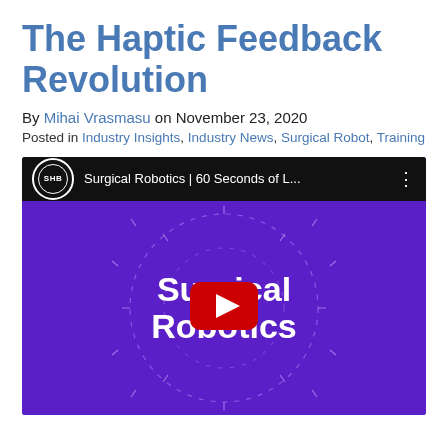The Haptic Feedback Revolution
By Mihai Vrasmasu on November 23, 2020
Posted in Industry Insights, Industry News, Surgical Robot, Training
[Figure (screenshot): YouTube video embed showing 'Surgical Robotics | 60 Seconds of L...' with SHB logo, purple background, dashed circle decoration, 'Surgical Robotics' text, and YouTube play button overlay.]